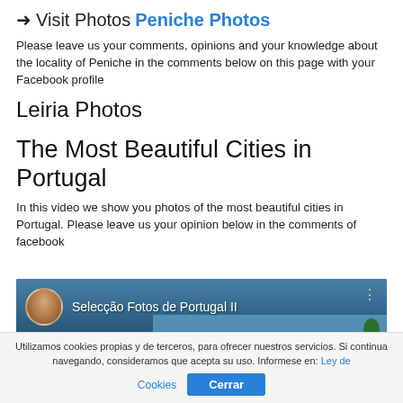➜ Visit Photos Peniche Photos
Please leave us your comments, opinions and your knowledge about the locality of Peniche in the comments below on this page with your Facebook profile
Leiria Photos
The Most Beautiful Cities in Portugal
In this video we show you photos of the most beautiful cities in Portugal. Please leave us your opinion below in the comments of facebook
[Figure (screenshot): YouTube video thumbnail showing 'Selecção Fotos de Portugal II' with a user avatar and castle/fortress background image]
Utilizamos cookies propias y de terceros, para ofrecer nuestros servicios. Si continua navegando, consideramos que acepta su uso. Informese en: Ley de Cookies  Cerrar